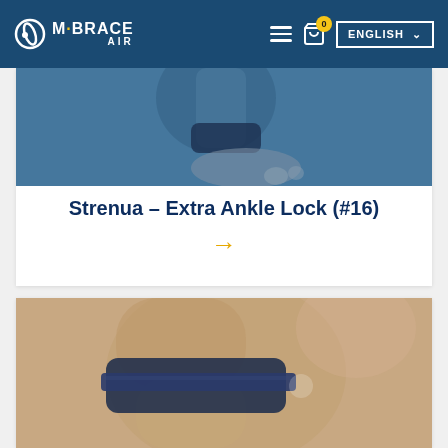M·BRACE AIR — ENGLISH
[Figure (photo): Ankle brace product photo showing foot/ankle with dark blue brace wrap]
Strenua – Extra Ankle Lock (#16)
[Figure (photo): Knee brace product photo showing knee joint with navy blue brace and velcro strap]